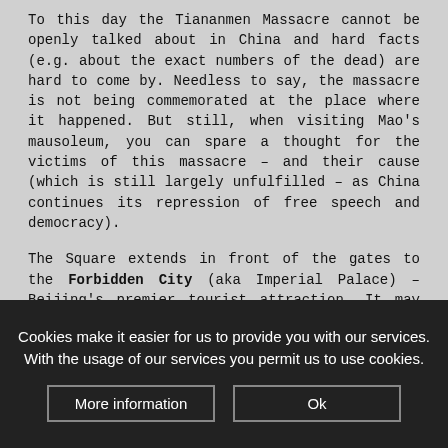To this day the Tiananmen Massacre cannot be openly talked about in China and hard facts (e.g. about the exact numbers of the dead) are hard to come by. Needless to say, the massacre is not being commemorated at the place where it happened. But still, when visiting Mao's mausoleum, you can spare a thought for the victims of this massacre – and their cause (which is still largely unfulfilled – as China continues its repression of free speech and democracy).
The Square extends in front of the gates to the Forbidden City (aka Imperial Palace) – Beijing's premier tourist attraction. It may be overrated but is still worth a look – and a listen: apparently the English audio guide you can hire at the entrance has the voice of "James Bond" Roger Moore on it!
Cookies make it easier for us to provide you with our services. With the usage of our services you permit us to use cookies.